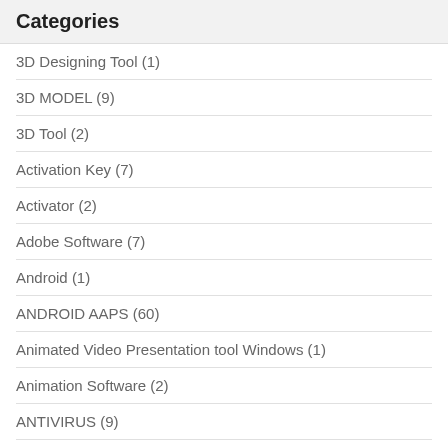Categories
3D Designing Tool (1)
3D MODEL (9)
3D Tool (2)
Activation Key (7)
Activator (2)
Adobe Software (7)
Android (1)
ANDROID AAPS (60)
Animated Video Presentation tool Windows (1)
Animation Software (2)
ANTIVIRUS (9)
BACKUPS (4)
Best VPNs Overall (2)